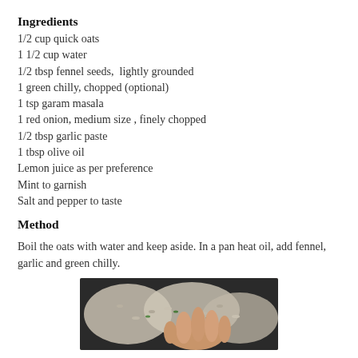Ingredients
1/2 cup quick oats
1 1/2 cup water
1/2 tbsp fennel seeds,  lightly grounded
1 green chilly, chopped (optional)
1 tsp garam masala
1 red onion, medium size , finely chopped
1/2 tbsp garlic paste
1 tbsp olive oil
Lemon juice as per preference
Mint to garnish
Salt and pepper to taste
Method
Boil the oats with water and keep aside. In a pan heat oil, add fennel, garlic and green chilly.
[Figure (photo): Photo of cooking oats with fennel and green chilly in a pan, showing rice-like grains being stirred by hand]